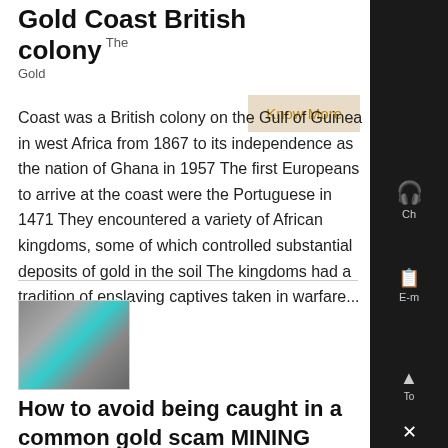Gold Coast British colony The Gold
Coast was a British colony on the Gulf of Guinea in west Africa from 1867 to its independence as the nation of Ghana in 1957 The first Europeans to arrive at the coast were the Portuguese in 1471 They encountered a variety of African kingdoms, some of which controlled substantial deposits of gold in the soil The kingdoms had a tradition of enslaving captives taken in warfare...
[Figure (photo): Thumbnail image showing industrial pipes or machinery with blue/cyan highlights]
How to avoid being caught in a common gold scam MINING
Typically those offers to sell gold...